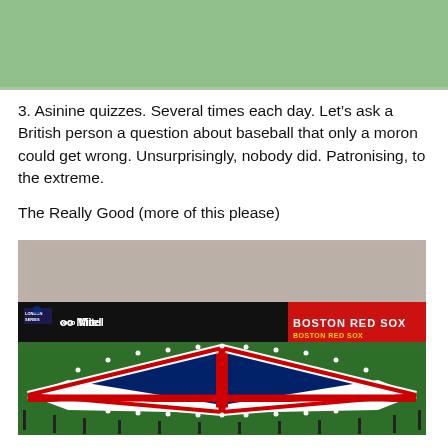[Figure (photo): Top portion of an image showing green grass or turf texture, cropped at top of page]
3. Asinine quizzes. Several times each day. Let’s ask a British person a question about baseball that only a moron could get wrong. Unsurprisingly, nobody did. Patronising, to the extreme.
The Really Good (more of this please)
[Figure (photo): Baseball stadium with a large Union Jack flag being displayed on the field. Visible signage includes London Series, Mitel, and Boston Red Sox. Crowd visible in the stands.]